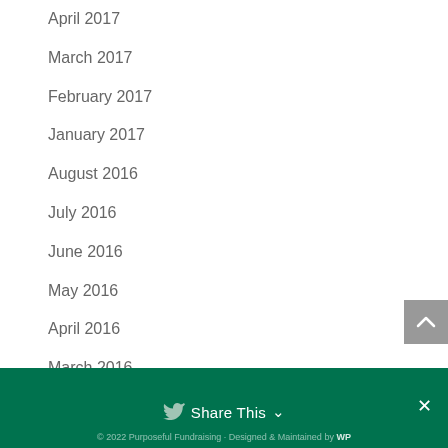April 2017
March 2017
February 2017
January 2017
August 2016
July 2016
June 2016
May 2016
April 2016
March 2016
February 2016
Share This  ×  © 2022 Purposeful Fundraising · Designed & Maintained by WP